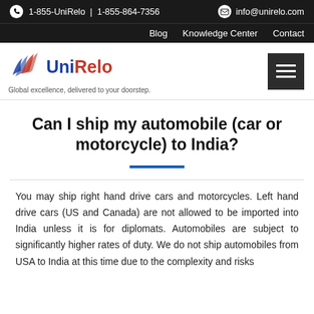1-855-UniRelo | 1-855-864-7356   info@unirelo.com
Blog   Knowledge Center   Contact
[Figure (logo): UniRelo logo with stylized flag/wave graphic and tagline: Global excellence, delivered to your doorstep.]
Can I ship my automobile (car or motorcycle) to India?
You may ship right hand drive cars and motorcycles. Left hand drive cars (US and Canada) are not allowed to be imported into India unless it is for diplomats. Automobiles are subject to significantly higher rates of duty. We do not ship automobiles from USA to India at this time due to the complexity and risks